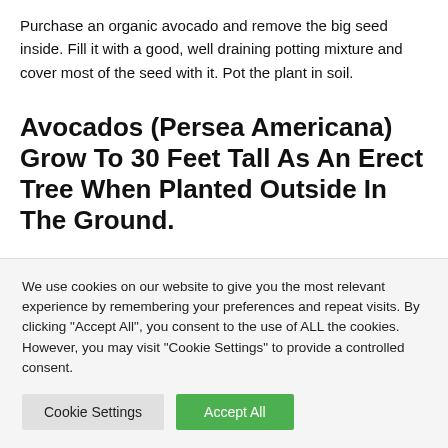Purchase an organic avocado and remove the big seed inside. Fill it with a good, well draining potting mixture and cover most of the seed with it. Pot the plant in soil.
Avocados (Persea Americana) Grow To 30 Feet Tall As An Erect Tree When Planted Outside In The Ground.
Start by removing the pit from the avocado carefully (without
We use cookies on our website to give you the most relevant experience by remembering your preferences and repeat visits. By clicking "Accept All", you consent to the use of ALL the cookies. However, you may visit "Cookie Settings" to provide a controlled consent.